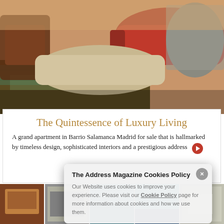[Figure (photo): Luxury interior room with red sofas, a beige/cream sofa, ornate patterned carpet, and a grey draped table — upscale residential setting]
The Quintessence of Luxury Living
A grand apartment in Barrio Salamanca Madrid for sale that is hallmarked by timeless design, sophisticated interiors and a prestigious address
[Figure (photo): Grid of luxury property thumbnail photos showing various upscale homes, pools, and interiors]
The Address Magazine Cookies Policy
Our Website uses cookies to improve your experience. Please visit our Cookie Policy page for more information about cookies and how we use them.